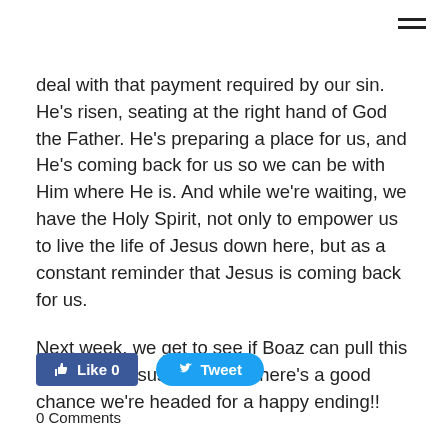deal with that payment required by our sin. He's risen, seating at the right hand of God the Father. He's preparing a place for us, and He's coming back for us so we can be with Him where He is. And while we're waiting, we have the Holy Spirit, not only to empower us to live the life of Jesus down here, but as a constant reminder that Jesus is coming back for us.
Next week, we get to see if Boaz can pull this off. Since Jesus didn't fail, there's a good chance we're headed for a happy ending!!
[Figure (other): Social sharing buttons: Facebook Like (0) button and Twitter Tweet button]
0 Comments